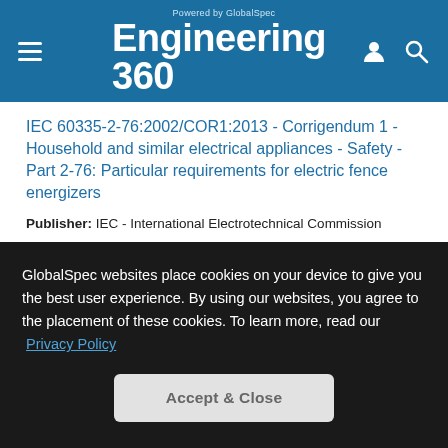Engineering 360 – Powered by GlobalSpec
IEC 60335-2-76:2002/COR1:2013 - Corrigendum 1 - Household and similar electrical appliances - Safety - Part 2-76: Particular requirements for electric fence energizers
Publisher: IEC - International Electrotechnical Commission
Year: 2013
IEC 60598-2-20:1996/ISH2:2003 - Interpretation sheet 02 - Luminaires - Part 2-20: Particular requirements - Lighting chains
Publisher: IEC - International Electrotechnical Commission
GlobalSpec websites place cookies on your device to give you the best user experience. By using our websites, you agree to the placement of these cookies. To learn more, read our Privacy Policy
Accept & Close